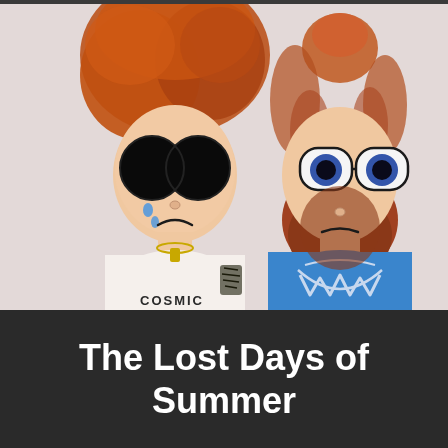[Figure (illustration): Hand-drawn cartoon illustration of two characters: on the left, a figure with large red/orange curly hair piled on top, wearing large black round sunglasses, crying with blue teardrops, wearing a white shirt that says 'COSMIC' with a gold necklace and a tattoo on the arm. On the right, a figure with reddish-brown hair in a bun, a thick beard, large cartoon eyes with blue irises and black pupils in white outline frames (like glasses), wearing a blue t-shirt with a Wu-Tang Clan logo. Background is light lavender/white.]
The Lost Days of Summer